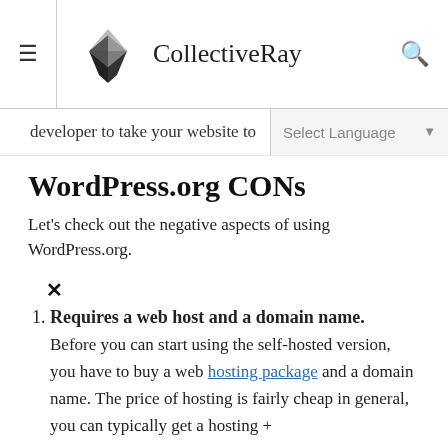CollectiveRay
developer to take your website to
WordPress.org CONs
Let's check out the negative aspects of using WordPress.org.
Requires a web host and a domain name. Before you can start using the self-hosted version, you have to buy a web hosting package and a domain name. The price of hosting is fairly cheap in general, you can typically get a hosting +